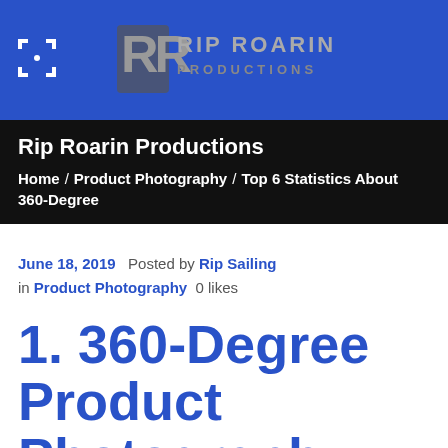[Figure (logo): Rip Roarin Productions logo with blue background, camera focus icon on left, stylized RR emblem and RIP ROARIN PRODUCTIONS text on right]
Rip Roarin Productions
Home / Product Photography / Top 6 Statistics About 360-Degree
June 18, 2019  Posted by Rip Sailing in Product Photography  0 likes
1. 360-Degree Product Photography